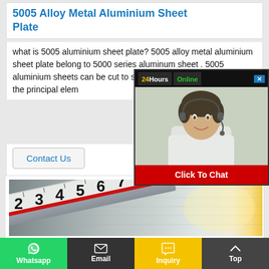5005 Alloy Metal Aluminium Sheet Plate
what is 5005 aluminium sheet plate? 5005 alloy metal aluminium sheet plate belong to 5000 series aluminum sheet . 5005 aluminium sheets can be cut to size at customers' need. Mg is the principal elem
[Figure (photo): 24Hours Online chat popup with customer service representative photo and Click To Chat button]
Contact Us
[Figure (photo): Close-up photo of a metal ruler/measuring tape showing numbers 2-9, placed on a brushed aluminium sheet surface]
Whatsapp  Email  Inquiry  Top